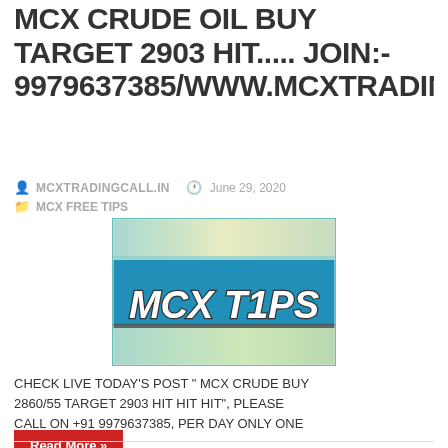MCX CRUDE OIL BUY TARGET 2903 HIT..... JOIN:- 9979637385/WWW.MCXTRADINGCA
MCXTRADINGCALL.IN  June 29, 2020  MCX FREE TIPS
[Figure (logo): MCX TIPS logo banner with blue background and italic bold white text reading 'MCX TIPS']
CHECK LIVE TODAY'S POST " MCX CRUDE BUY 2860/55 TARGET 2903 HIT HIT HIT", PLEASE CALL ON +91 9979637385, PER DAY ONLY ONE CALL WITH ...
Read More »